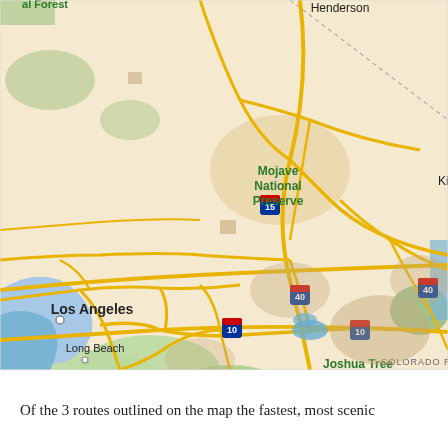[Figure (map): Google Maps view of Southern California and surrounding region showing Los Angeles, Long Beach, Irvine, San Bernardino National Forest, Joshua Tree National Park, Mojave National Preserve, Henderson, Colorado River Reservation, and Kofa area. Major highways I-10, I-15, I-40 are visible as yellow roads.]
Of the 3 routes outlined on the map the fastest, most scenic